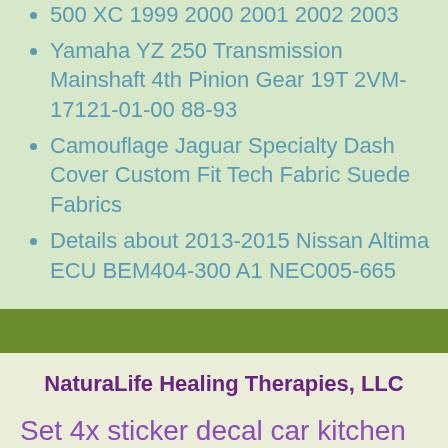500 XC 1999 2000 2001 2002 2003
Yamaha YZ 250 Transmission Mainshaft 4th Pinion Gear 19T 2VM-17121-01-00 88-93
Camouflage Jaguar Specialty Dash Cover Custom Fit Tech Fabric Suede Fabrics
Details about  2013-2015 Nissan Altima ECU BEM404-300 A1 NEC005-665
NaturaLife Healing Therapies, LLC
Set 4x sticker decal car kitchen butterfly orange room kid vinyl